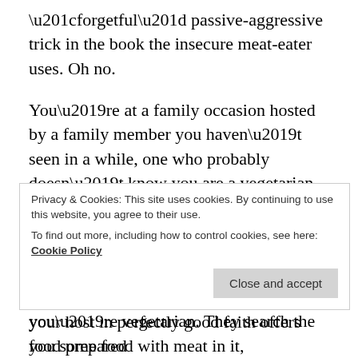“forgetful” passive-aggressive trick in the book the insecure meat-eater uses. Oh no.
You’re at a family occasion hosted by a family member you haven’t seen in a while, one who probably doesn’t know you are a vegetarian yet. It’s okay, or it should be okay because you’ve brought your own food.
If it inadvertently becomes an issue, if your host in perfectly good faith offers you some food with meat in it, you’ve done the necessary preparation to manage things without awkwardness. Problem
Privacy & Cookies: This site uses cookies. By continuing to use this website, you agree to their use.
To find out more, including how to control cookies, see here: Cookie Policy
you’re vegetarian. They search the food prepared